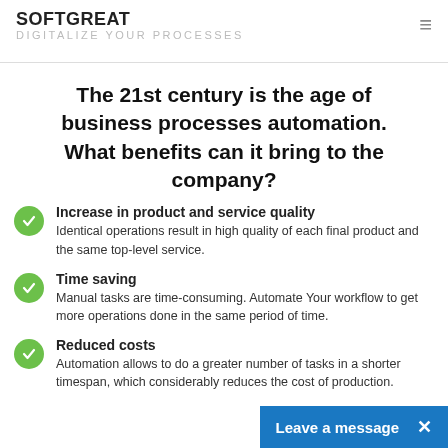SOFTGREAT DIGITALIZE YOUR PROCESSES
The 21st century is the age of business processes automation. What benefits can it bring to the company?
Increase in product and service quality
Identical operations result in high quality of each final product and the same top-level service.
Time saving
Manual tasks are time-consuming. Automate Your workflow to get more operations done in the same period of time.
Reduced costs
Automation allows to do a greater number of tasks in a shorter timespan, which considerably reduces the cost of production.